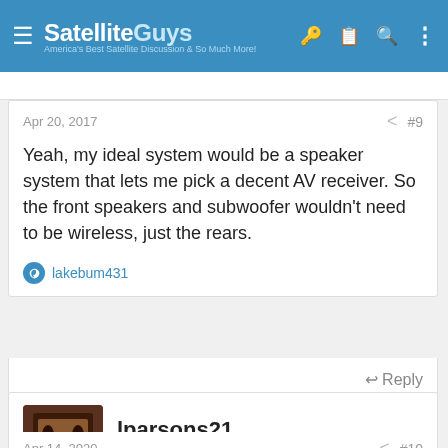SatelliteGuys — America's Best Satellite Discussion & So Much More!
Apr 20, 2017  #9
Yeah, my ideal system would be a speaker system that lets me pick a decent AV receiver. So the front speakers and subwoofer wouldn't need to be wireless, just the rears.
lakebum431
Reply
lparsons21
SatelliteGuys Master  Lifetime Supporter
Apr 14, 2020  #10
Reprising this thread